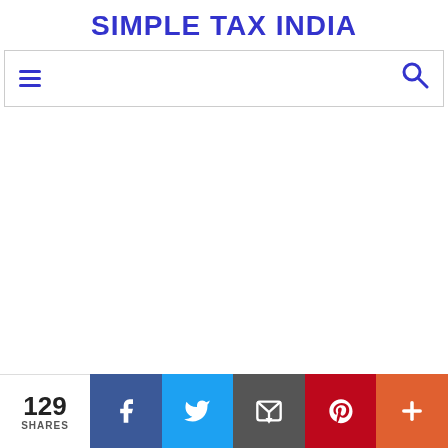SIMPLE TAX INDIA
[Figure (screenshot): Navigation bar with hamburger menu icon on left and search icon on right, inside a bordered rectangle]
129 SHARES
[Figure (infographic): Social share bar with Facebook (blue), Twitter (light blue), Email (dark grey), Pinterest (red), and More (orange-red) buttons]